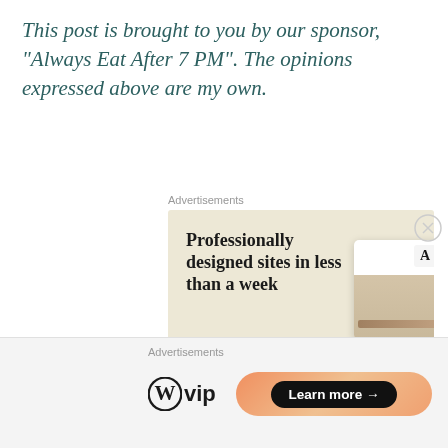This post is brought to you by our sponsor, "Always Eat After 7 PM". The opinions expressed above are my own.
Advertisements
[Figure (screenshot): WordPress.com advertisement showing 'Professionally designed sites in less than a week' with an Explore options button and mockup screenshots of websites with food photography. WordPress logo visible at bottom left.]
Advertisements
[Figure (logo): WordPress VIP logo on left, and a gradient button on right reading 'Learn more →']